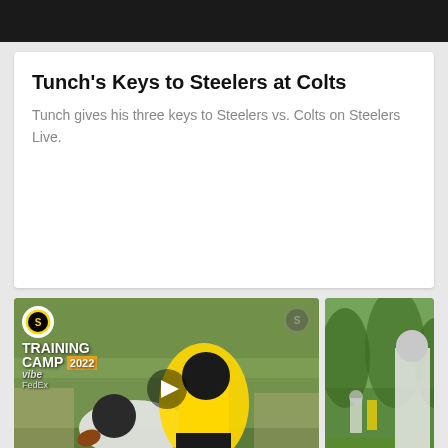[Figure (photo): Black header bar at top of page]
Tunch's Keys to Steelers at Colts
Tunch gives his three keys to Steelers vs. Colts on Steelers Live.
[Figure (photo): Training Camp 2022 video thumbnail showing two Steelers players in yellow and black uniforms competing during a drill, with Training Camp 2022 overlay text and FedEx logo]
[Figure (photo): Partial photo of Steelers player in white uniform on green field background]